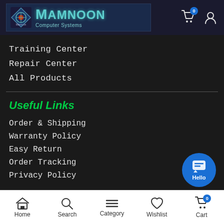[Figure (logo): Mamnoon Computer Systems logo with teal diamond graphic and teal text on dark blue background]
Training Center
Repair Center
All Products
Useful Links
Order & Shipping
Warranty Policy
Easy Return
Order Tracking
Privacy Policy
Home  Search  Category  Wishlist  Cart